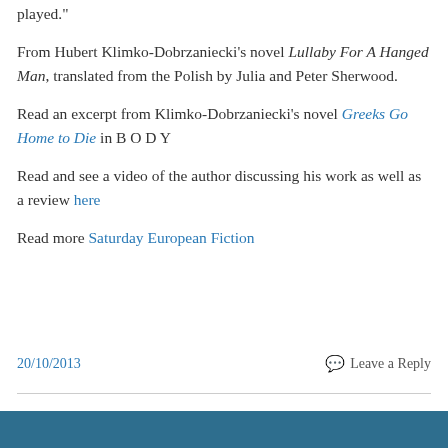played."
From Hubert Klimko-Dobrzaniecki’s novel Lullaby For A Hanged Man, translated from the Polish by Julia and Peter Sherwood.
Read an excerpt from Klimko-Dobrzaniecki’s novel Greeks Go Home to Die in B O D Y
Read and see a video of the author discussing his work as well as a review here
Read more Saturday European Fiction
20/10/2013    Leave a Reply